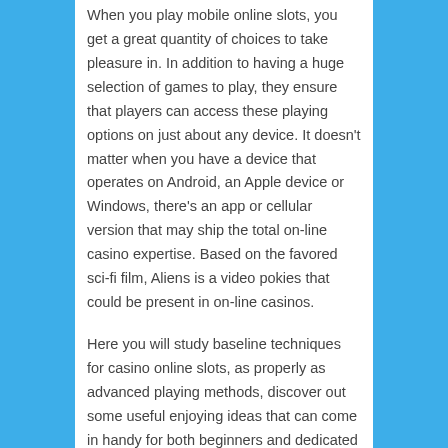When you play mobile online slots, you get a great quantity of choices to take pleasure in. In addition to having a huge selection of games to play, they ensure that players can access these playing options on just about any device. It doesn't matter when you have a device that operates on Android, an Apple device or Windows, there's an app or cellular version that may ship the total on-line casino expertise. Based on the favored sci-fi film, Aliens is a video pokies that could be present in on-line casinos.
Here you will study baseline techniques for casino online slots, as properly as advanced playing methods, discover out some useful enjoying ideas that can come in handy for both beginners and dedicated professionals. The web site was